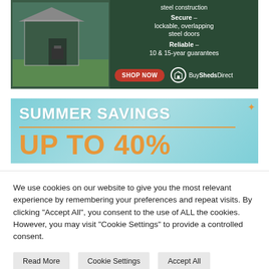[Figure (illustration): BuySheds Direct advertisement showing a dark green metal shed with text: steel construction, Secure – lockable, overlapping steel doors, Reliable – 10 & 15-year guarantees, SHOP NOW button, BuyShedsDirect logo]
[Figure (illustration): Summer Savings advertisement on light blue background with text: SUMMER SAVINGS, UP TO 40%]
We use cookies on our website to give you the most relevant experience by remembering your preferences and repeat visits. By clicking "Accept All", you consent to the use of ALL the cookies. However, you may visit "Cookie Settings" to provide a controlled consent.
Read More
Cookie Settings
Accept All